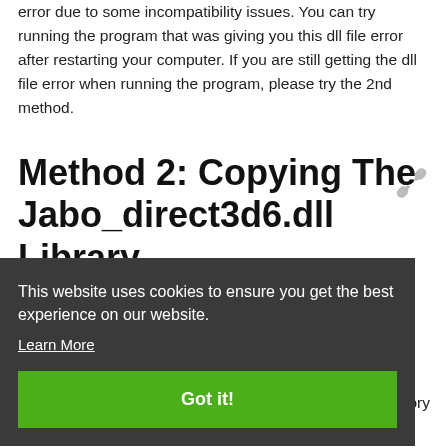error due to some incompatibility issues. You can try running the program that was giving you this dll file error after restarting your computer. If you are still getting the dll file error when running the program, please try the 2nd method.
Method 2: Copying The Jabo_direct3d6.dll Library
This website uses cookies to ensure you get the best experience on our website.
Learn More
Got it!
"Jabo_direct3d6.dll is missing" or other similar